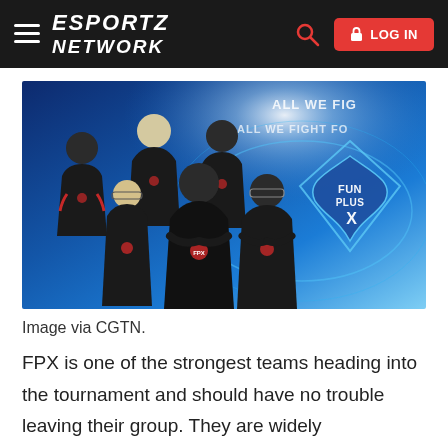ESPORTZ NETWORK
[Figure (photo): FunPlus Phoenix (FPX) esports team photo — five players in black and red FPX jerseys posing in front of a blue futuristic background with the FunPlus Phoenix logo. Text 'ALL WE FIGHT FOR' visible in background.]
Image via CGTN.
FPX is one of the strongest teams heading into the tournament and should have no trouble leaving their group. They are widely